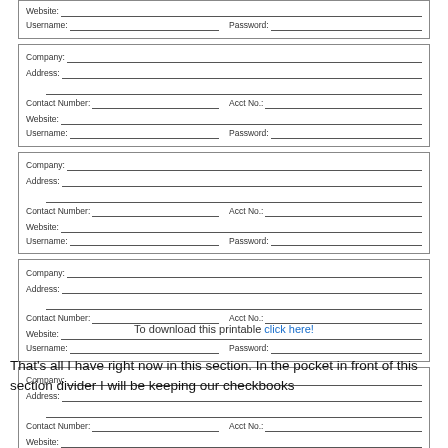[Figure (other): A form section with partial top box showing Website, Username, Password fields, followed by four complete form boxes each containing Company, Address, Contact Number, Acct No, Website, Username, Password fill-in lines]
To download this printable click here!
That's all I have right now in this section. In the pocket in front of this section divider I will be keeping our checkbooks